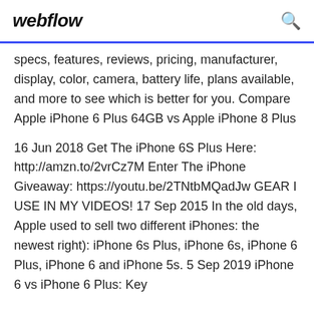webflow
specs, features, reviews, pricing, manufacturer, display, color, camera, battery life, plans available, and more to see which is better for you. Compare Apple iPhone 6 Plus 64GB vs Apple iPhone 8 Plus
16 Jun 2018 Get The iPhone 6S Plus Here: http://amzn.to/2vrCz7M Enter The iPhone Giveaway: https://youtu.be/2TNtbMQadJw GEAR I USE IN MY VIDEOS! 17 Sep 2015 In the old days, Apple used to sell two different iPhones: the newest right): iPhone 6s Plus, iPhone 6s, iPhone 6 Plus, iPhone 6 and iPhone 5s. 5 Sep 2019 iPhone 6 vs iPhone 6 Plus: Key